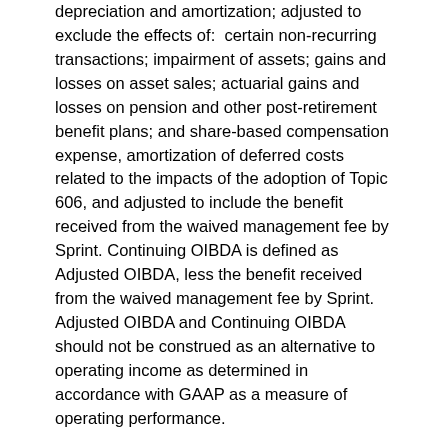depreciation and amortization; adjusted to exclude the effects of: certain non-recurring transactions; impairment of assets; gains and losses on asset sales; actuarial gains and losses on pension and other post-retirement benefit plans; and share-based compensation expense, amortization of deferred costs related to the impacts of the adoption of Topic 606, and adjusted to include the benefit received from the waived management fee by Sprint. Continuing OIBDA is defined as Adjusted OIBDA, less the benefit received from the waived management fee by Sprint. Adjusted OIBDA and Continuing OIBDA should not be construed as an alternative to operating income as determined in accordance with GAAP as a measure of operating performance.
In a capital-intensive industry such as telecommunications, management believes that Adjusted OIBDA and Continuing OIBDA and the associated percentage margin calculations are meaningful measures of our operating performance. We use Adjusted OIBDA and Continuing OIBDA as supplemental performance measures because management believes these measures facilitate comparisons of our operating performance from period to period and comparisons of our operating...